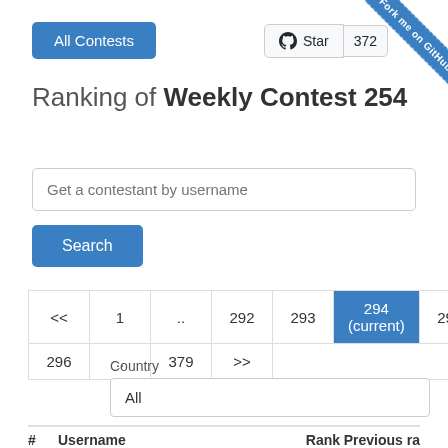Ranking of Weekly Contest 254
Get a contestant by username
Search
| << | 1 | .. | 292 | 293 | 294 (current) | 295 |
| --- | --- | --- | --- | --- | --- | --- |
| 296 | .. | 379 | >> |
Country
All
# Username Rank Previous ra